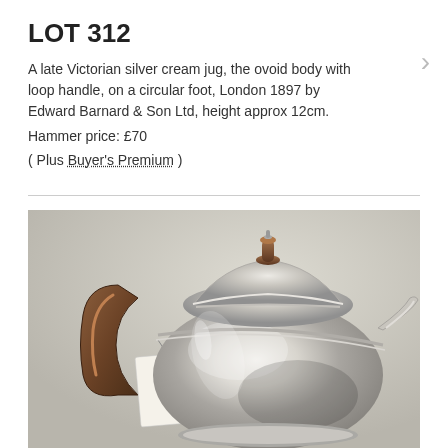LOT 312
A late Victorian silver cream jug, the ovoid body with loop handle, on a circular foot, London 1897 by Edward Barnard & Son Ltd, height approx 12cm.
Hammer price: £70
( Plus Buyer's Premium )
[Figure (photo): Photograph of a late Victorian silver cream jug with a wooden handle and lid, showing hallmark tag attached, on a light grey background.]